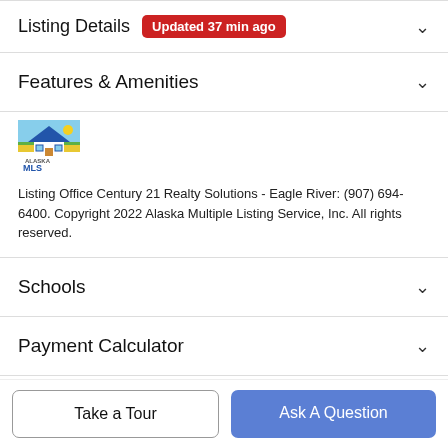Listing Details Updated 37 min ago
Features & Amenities
[Figure (logo): Alaska MLS logo — house graphic with blue sky and green landscape, text ALASKA MLS below]
Listing Office Century 21 Realty Solutions - Eagle River: (907) 694-6400. Copyright 2022 Alaska Multiple Listing Service, Inc. All rights reserved.
Schools
Payment Calculator
Contact Agent
Take a Tour
Ask A Question